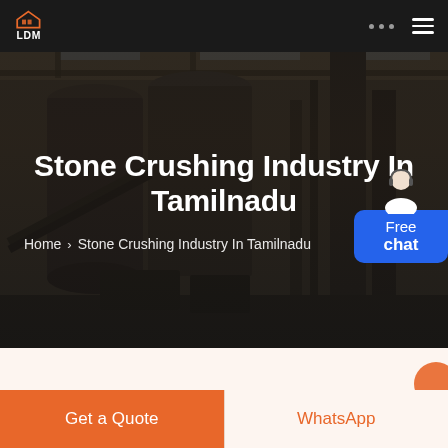LDM logo, navigation dots, hamburger menu
[Figure (photo): Industrial stone crushing machinery inside a large warehouse/factory with steel structures, silos, and equipment visible. Dark moody photo used as hero background.]
Stone Crushing Industry In Tamilnadu
Home > Stone Crushing Industry In Tamilnadu
Free chat
Get a Quote
WhatsApp